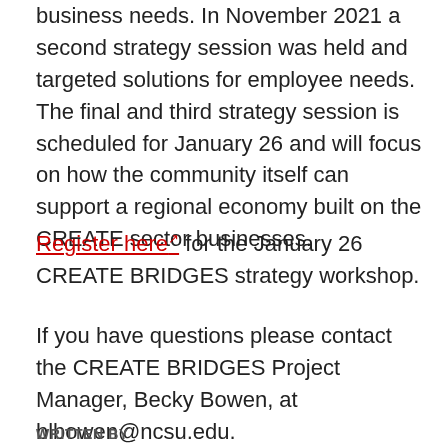business needs. In November 2021 a second strategy session was held and targeted solutions for employee needs. The final and third strategy session is scheduled for January 26 and will focus on how the community itself can support a regional economy built on the CREATE sector businesses.
Register here for the January 26 CREATE BRIDGES strategy workshop.
If you have questions please contact the CREATE BRIDGES Project Manager, Becky Bowen, at blbowen@ncsu.edu.
WRITTEN BY